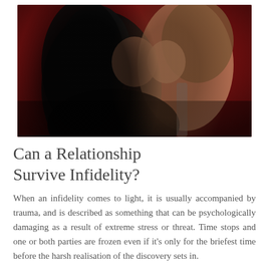[Figure (photo): Two women in close intimate pose, about to kiss, against a red background. One has dark hair wearing black, the other has lighter hair wearing a patterned top.]
Can a Relationship Survive Infidelity?
When an infidelity comes to light, it is usually accompanied by trauma, and is described as something that can be psychologically damaging as a result of extreme stress or threat. Time stops and one or both parties are frozen even if it's only for the briefest time before the harsh realisation of the discovery sets in.